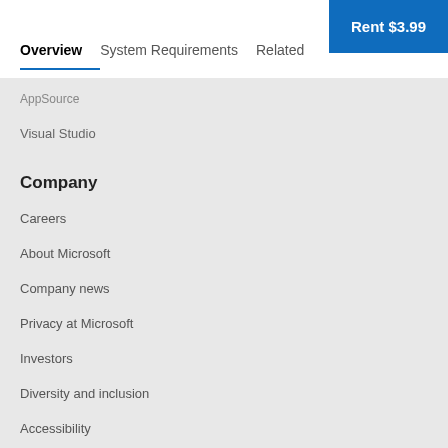Overview | System Requirements | Related | Rent $3.99
AppSource
Visual Studio
Company
Careers
About Microsoft
Company news
Privacy at Microsoft
Investors
Diversity and inclusion
Accessibility
Sustainability